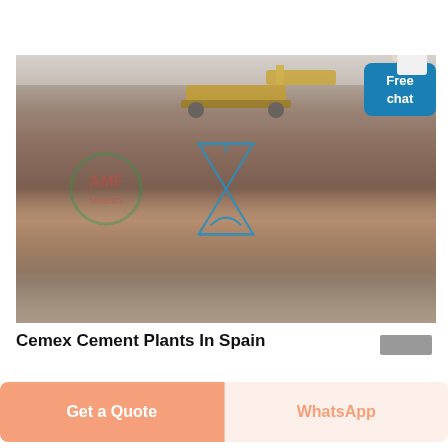[Figure (photo): Industrial quarry/construction site photo showing excavators and heavy machinery on a large mound of brown/red earth and crushed rocks. An hourglass-shaped logo icon is overlaid in the center, and a watermark/logo is visible on the left side. A 'Free chat' button with a person icon appears in the top-right corner.]
Cemex Cement Plants In Spain
Get a Quote
WhatsApp